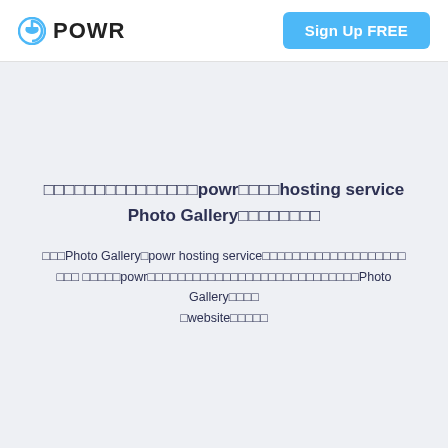POWR | Sign Up FREE
□□□□□□□□□□□□□□□powr□□□□□hosting service Photo Gallery□□□□□□□□
□□□Photo Gallery□powr hosting service□□□□□□□□□□□□□□□□□□□ □□□ □□□□□powr□□□□□□□□□□□□□□□□□□□□□□□□□□□□Photo Gallery□□□□ □website□□□□□